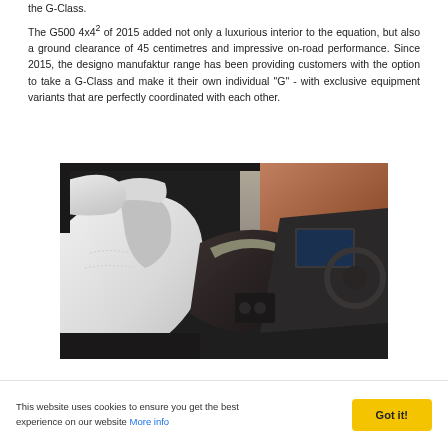the G-Class. The G500 4x4² of 2015 added not only a luxurious interior to the equation, but also a ground clearance of 45 centimetres and impressive on-road performance. Since 2015, the designo manufaktur range has been providing customers with the option to take a G-Class and make it their own individual "G" - with exclusive equipment variants that are perfectly coordinated with each other.
[Figure (photo): Interior photo of a Mercedes-Benz G-Class showing white leather front seats, center console, dashboard and steering wheel area with rocky terrain visible through the windows.]
Thanks to the Mercedes-Maybach G650 Landaulot, the iconic
This website uses cookies to ensure you get the best experience on our website More info